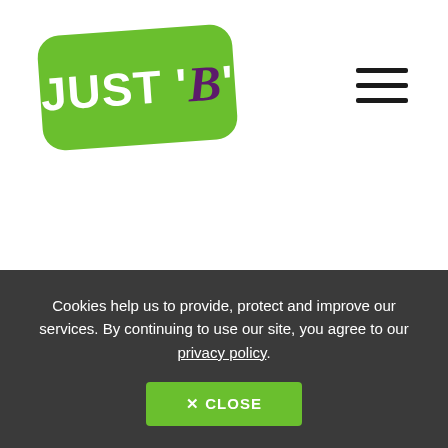[Figure (logo): Just 'B' logo — green rounded rectangle with white bold text 'JUST' and purple italic serif 'B' in quotes, slightly rotated]
[Figure (other): Hamburger menu icon — three horizontal black lines in the top-right corner]
Cookies help us to provide, protect and improve our services. By continuing to use our site, you agree to our privacy policy.
✕ CLOSE